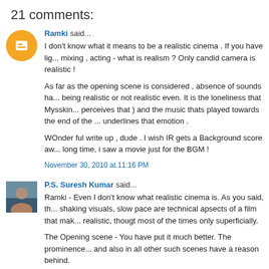21 comments:
Ramki said...
I don't know what it means to be a realistic cinema . If you have lighting , sound mixing , acting - what is realism ? Only candid camera is realistic !
As far as the opening scene is considered , absence of sounds has nothing to do with being realistic or not realistic even. It is the loneliness that Mysskin feels ( or perceives that ) and the music thats played towards the end of the scene that underlines that emotion .
WOnder ful write up , dude . I wish IR gets a Background score award . After a long time, i saw a movie just for the BGM !
November 30, 2010 at 11:16 PM
P.S. Suresh Kumar said...
Ramki - Even I don't know what realistic cinema is. As you said, the hand shaking visuals, slow pace are technical apsects of a film that makes it look realistic, thougt most of the times only superficially.
The Opening scene - You have put it much better. The prominence of silence and also in all other such scenes have a reason behind.
December 1, 2010 at 12:16 AM